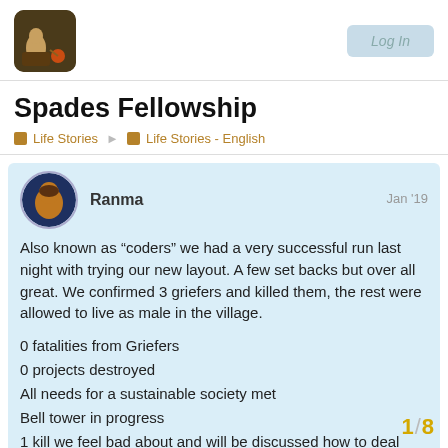Spades Fellowship forum header with logo and Login button
Spades Fellowship
Life Stories   Life Stories - English
Ranma   Jan '19
Also known as “coders” we had a very successful run last night with trying our new layout. A few set backs but over all great. We confirmed 3 griefers and killed them, the rest were allowed to live as male in the village.
0 fatalities from Griefers
0 projects destroyed
All needs for a sustainable society met
Bell tower in progress
1 kill we feel bad about and will be discussed how to deal with this in future builds.
1 / 8